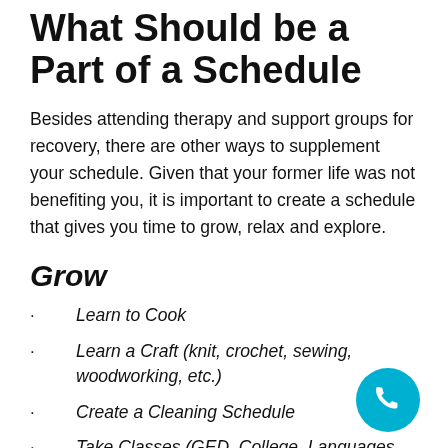What Should be a Part of a Schedule
Besides attending therapy and support groups for recovery, there are other ways to supplement your schedule. Given that your former life was not benefiting you, it is important to create a schedule that gives you time to grow, relax and explore.
Grow
Learn to Cook
Learn a Craft (knit, crochet, sewing, woodworking, etc.)
Create a Cleaning Schedule
Take Classes (GED, College, Languages, Exercise, etc.)